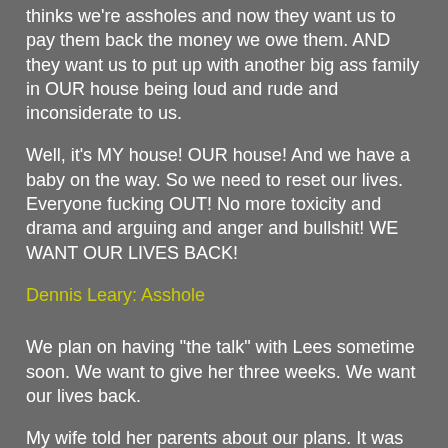thinks we're assholes and now they want us to pay them back the money we owe them. AND they want us to put up with another big ass family in OUR house being loud and rude and inconsiderate to us.
Well, it's MY house! OUR house! And we have a baby on the way. So we need to reset our lives. Everyone fucking OUT! No more toxicity and drama and arguing and anger and bullshit! WE WANT OUR LIVES BACK!
Dennis Leary: Asshole
We plan on having "the talk" with Lees sometime soon. We want to give her three weeks. We want our lives back.
My wife told her parents about our plans. It was to warn them, give them a heads up. But now we believe that Natasha's parents told Lees and now she is treating us